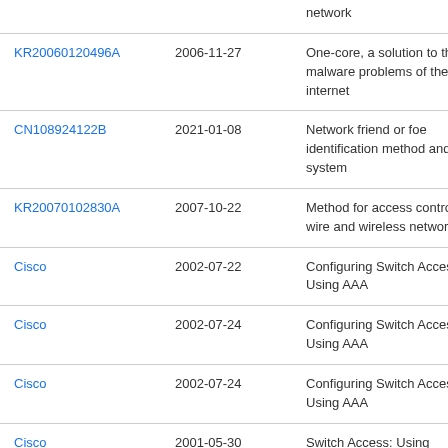|  |  | network |
| KR20060120496A | 2006-11-27 | One-core, a solution to the malware problems of the internet |
| CN108924122B | 2021-01-08 | Network friend or foe identification method and system |
| KR20070102830A | 2007-10-22 | Method for access control in wire and wireless network |
| Cisco | 2002-07-22 | Configuring Switch Access Using AAA |
| Cisco | 2002-07-24 | Configuring Switch Access Using AAA |
| Cisco | 2002-07-24 | Configuring Switch Access Using AAA |
| Cisco | 2001-05-30 | Switch Access: Using Authentication, Authorization, and Accounting |